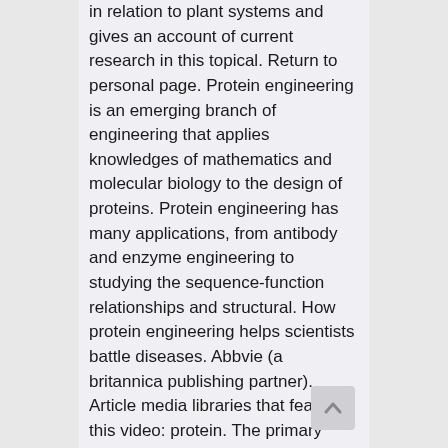in relation to plant systems and gives an account of current research in this topical. Return to personal page. Protein engineering is an emerging branch of engineering that applies knowledges of mathematics and molecular biology to the design of proteins. Protein engineering has many applications, from antibody and enzyme engineering to studying the sequence-function relationships and structural. How protein engineering helps scientists battle diseases. Abbvie (a britannica publishing partner). Article media libraries that feature this video: protein. The primary objective of protein engineering is to identify specific changes in the amino acid sequence and to alter such sequence for desired functional. This page contains frontiers open-access articles about protein engineering. Protein engineering is a field possessing opening hot spots in recombinant dna technology, where